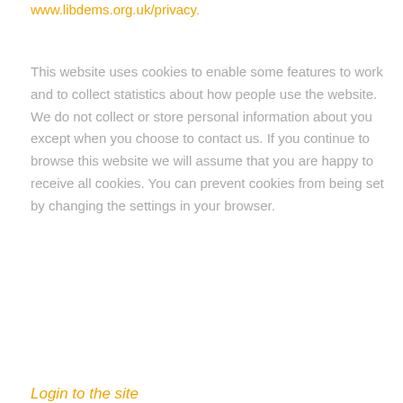www.libdems.org.uk/privacy.
This website uses cookies to enable some features to work and to collect statistics about how people use the website. We do not collect or store personal information about you except when you choose to contact us. If you continue to browse this website we will assume that you are happy to receive all cookies. You can prevent cookies from being set by changing the settings in your browser.
Login to the site